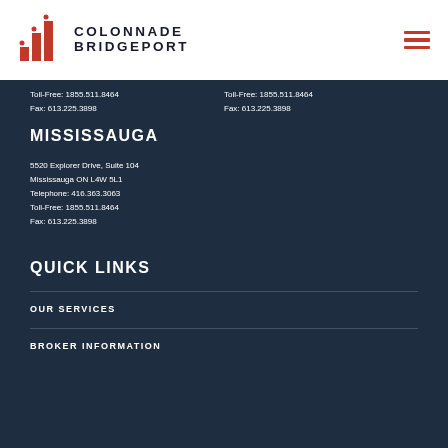Colonnade Bridgeport
Toll-Free: 1855.511.8464
Fax: 613.225.3898
Toll-Free: 1855.511.8464
Fax: 613.225.3898
MISSISSAUGA
5520 Explorer Drive, Suite 104
Mississauga ON L4W 5L1
Telephone: 416.363.3063
Toll-Free: 1855.511.8464
Fax: 613.225.3898
QUICK LINKS
OUR SERVICES
BROKER INFORMATION